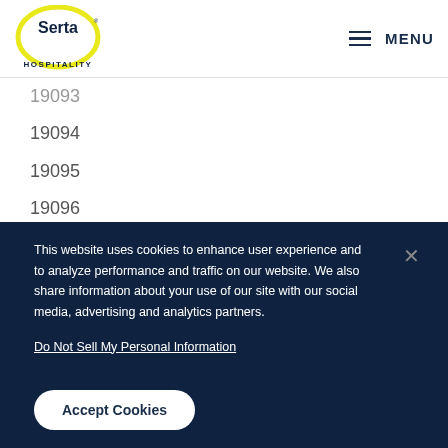Serta Hospitality | MENU
19093
19094
19095
19096
19098
19099
This website uses cookies to enhance user experience and to analyze performance and traffic on our website. We also share information about your use of our site with our social media, advertising and analytics partners.
Do Not Sell My Personal Information
Accept Cookies